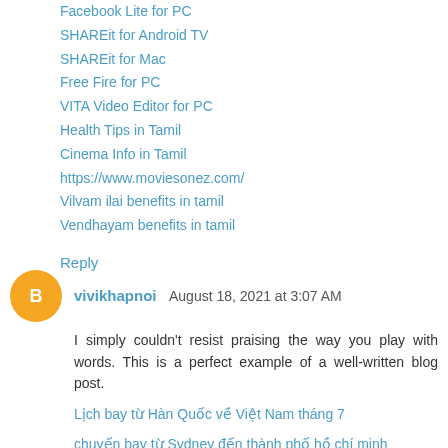Facebook Lite for PC
SHAREit for Android TV
SHAREit for Mac
Free Fire for PC
VITA Video Editor for PC
Health Tips in Tamil
Cinema Info in Tamil
https://www.moviesonez.com/
Vilvam ilai benefits in tamil
Vendhayam benefits in tamil
Reply
vivikhapnoi  August 18, 2021 at 3:07 AM
I simply couldn't resist praising the way you play with words. This is a perfect example of a well-written blog post.
Lịch bay từ Hàn Quốc về Việt Nam tháng 7
chuyến bay từ Sydney đến thành phố hồ chí minh
vé máy bay từ san francisco về việt nam